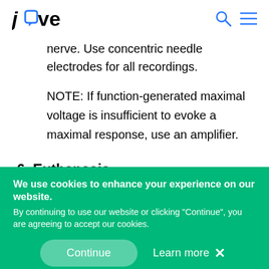jove [logo with search and menu icons]
nerve. Use concentric needle electrodes for all recordings.
NOTE: If function-generated maximal voltage is insufficient to evoke a maximal response, use an amplifier.
6. Euthanasia
1. Primary method
1. Place the cage under a CO₂ delivery
We use cookies to enhance your experience on our website. By continuing to use our website or clicking "Continue", you are agreeing to accept our cookies.
Continue   Learn more ×